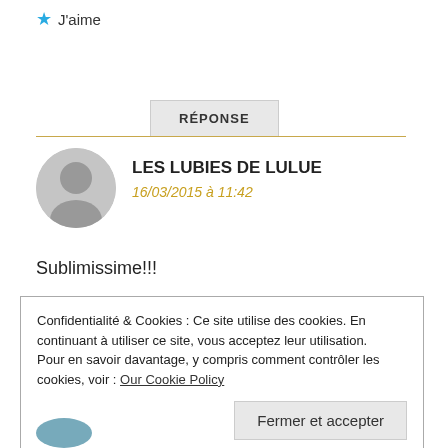★ J'aime
RÉPONSE
LES LUBIES DE LULUE
16/03/2015 à 11:42
Sublimissime!!!
Confidentialité & Cookies : Ce site utilise des cookies. En continuant à utiliser ce site, vous acceptez leur utilisation. Pour en savoir davantage, y compris comment contrôler les cookies, voir : Our Cookie Policy
Fermer et accepter